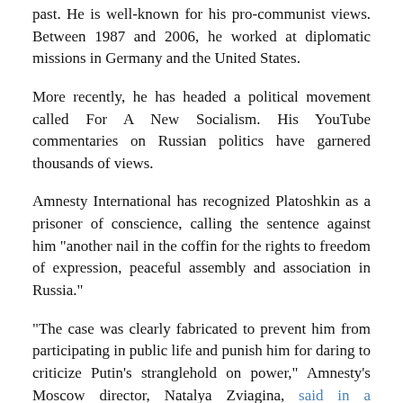past. He is well-known for his pro-communist views. Between 1987 and 2006, he worked at diplomatic missions in Germany and the United States.
More recently, he has headed a political movement called For A New Socialism. His YouTube commentaries on Russian politics have garnered thousands of views.
Amnesty International has recognized Platoshkin as a prisoner of conscience, calling the sentence against him "another nail in the coffin for the rights to freedom of expression, peaceful assembly and association in Russia."
"The case was clearly fabricated to prevent him from participating in public life and punish him for daring to criticize Putin's stranglehold on power," Amnesty's Moscow director, Natalya Zviagina, said in a statement.
Copyright (c) 2010-2020. RFE/RL, Inc. Reprinted with the permission of Radio Free Europe/Radio Liberty, 1201 Connecticut ...